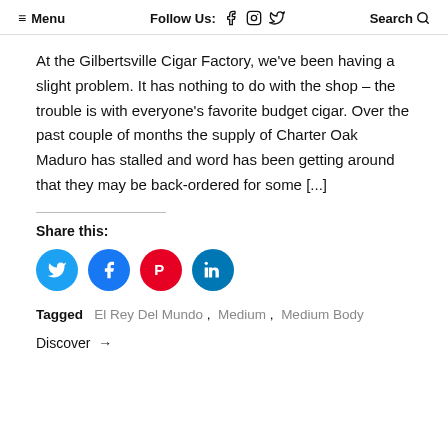≡ Menu   Follow Us: f ⭘ 🐦   Search 🔍
At the Gilbertsville Cigar Factory, we've been having a slight problem. It has nothing to do with the shop – the trouble is with everyone's favorite budget cigar. Over the past couple of months the supply of Charter Oak Maduro has stalled and word has been getting around that they may be back-ordered for some [...]
Share this:
[Figure (infographic): Four circular social media share buttons: Twitter (blue), Facebook (blue), Pinterest (red), LinkedIn (teal)]
Tagged  El Rey Del Mundo ,  Medium ,  Medium Body
Discover →